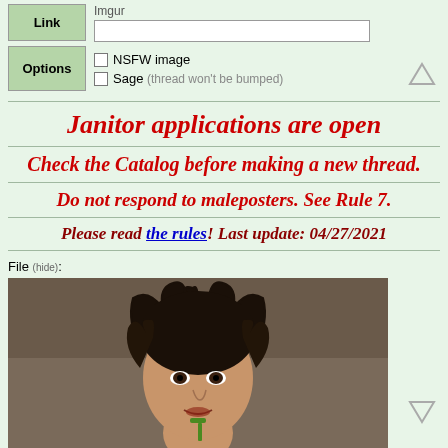| Link | Imgur |  |
| Options | NSFW image
Sage (thread won't be bumped) |  |
Janitor applications are open
Check the Catalog before making a new thread.
Do not respond to maleposters. See Rule 7.
Please read the rules! Last update: 04/27/2021
File (hide):
[Figure (photo): A woman with dark curly hair eating or chewing something, looking at the camera, indoor blurred background]